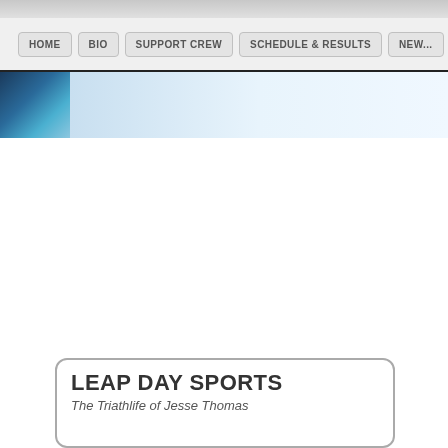HOME | BIO | SUPPORT CREW | SCHEDULE & RESULTS | NEW...
[Figure (photo): Website header hero image with blue/teal abstract design on left, light blue gradient on right]
LEAP DAY SPORTS
The Triathlife of Jesse Thomas